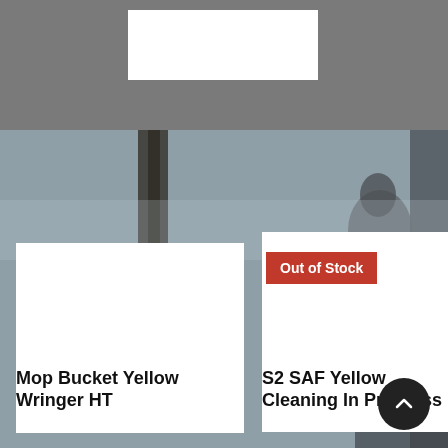[Figure (screenshot): E-commerce product listing page screenshot showing two product cards on an atmospheric blurred background. Left card has 'Out of Stock' badge. Products shown: 'Mop Bucket Yellow Wringer HT' and 'S2 SAF Yellow Cleaning In Progress'.]
Out of Stock
Mop Bucket Yellow Wringer HT
S2 SAF Yellow Cleaning In Progress